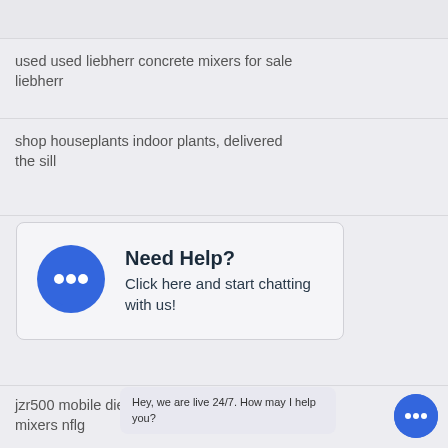used used liebherr concrete mixers for sale liebherr
shop houseplants indoor plants, delivered the sill
[Figure (infographic): Chat widget box with blue speech bubble icon and text 'Need Help? Click here and start chatting with us!']
jzr500 mobile diesel engine concrete mixers nflg
Hey, we are live 24/7. How may I help you?